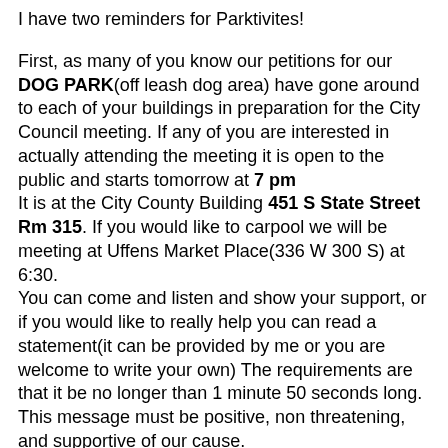I have two reminders for Parktivites!
First, as many of you know our petitions for our DOG PARK(off leash dog area) have gone around to each of your buildings in preparation for the City Council meeting. If any of you are interested in actually attending the meeting it is open to the public and starts tomorrow at 7 pm
It is at the City County Building 451 S State Street Rm 315. If you would like to carpool we will be meeting at Uffens Market Place(336 W 300 S) at 6:30.
You can come and listen and show your support, or if you would like to really help you can read a statement(it can be provided by me or you are welcome to write your own) The requirements are that it be no longer than 1 minute 50 seconds long. This message must be positive, non threatening, and supportive of our cause.
I have several already written if you feel that you would like to contribute but do not have time to prepare a statement.
If you cannot attend tomorrow but you still want to show your support you can come to the actual meeting where they will vote at: Day Riverside Library 1525 W 1000 N August